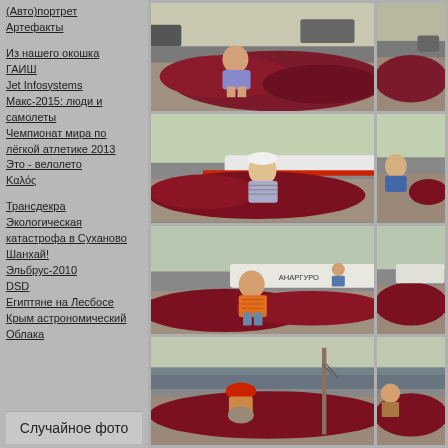(Авто)портрет
Артефакты
Из нашего окошка
ГАИШ
Jet Infosystems
Макс-2015: люди и самолеты
Чемпионат мира по лёгкой атлетике 2013
Это - велолето
Καλός
Трансдекра
Экологическая катастрофа в Суханово
Шанхай!
Эльбрус-2010
DSD
Египтяне на Лесбосе
Крым астрономический
Облака
Случайное фото
[Figure (photo): Man sitting on dark red fishing nets on a dock, outdoor scene]
[Figure (photo): Partial view of fishing nets scene, cropped right side]
[Figure (photo): Man in striped shirt and white cap sitting on red fishing nets next to a boat]
[Figure (photo): Partial view of man in blue shirt among fishing nets, cropped]
[Figure (photo): Young man in orange vest sitting on red fishing nets next to a boat named ANAРГУРО]
[Figure (photo): Partial cropped view of fishing scene]
[Figure (photo): Person in red hat bending over fishing nets at a dock]
[Figure (photo): Partial cropped view of fishing scene with nets]